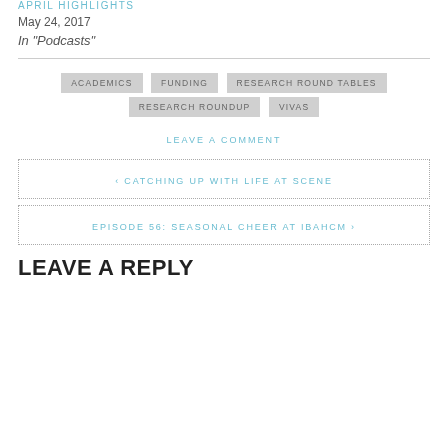APRIL HIGHLIGHTS
May 24, 2017
In "Podcasts"
ACADEMICS
FUNDING
RESEARCH ROUND TABLES
RESEARCH ROUNDUP
VIVAS
LEAVE A COMMENT
< CATCHING UP WITH LIFE AT SCENE
EPISODE 56: SEASONAL CHEER AT IBAHCM >
LEAVE A REPLY